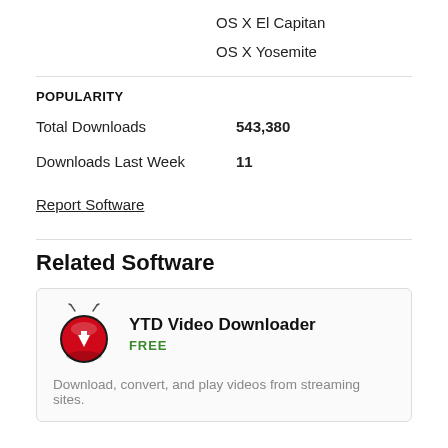OS X El Capitan
OS X Yosemite
POPULARITY
Total Downloads   543,380
Downloads Last Week   11
Report Software
Related Software
YTD Video Downloader
FREE
Download, convert, and play videos from streaming sites.